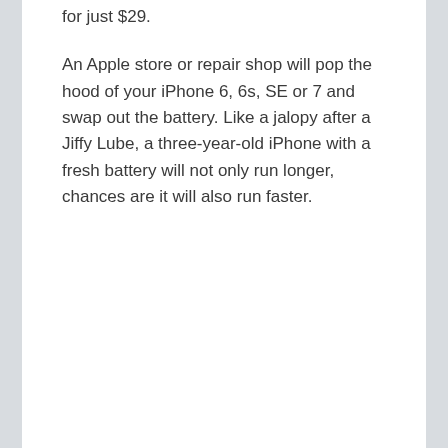for just $29.
An Apple store or repair shop will pop the hood of your iPhone 6, 6s, SE or 7 and swap out the battery. Like a jalopy after a Jiffy Lube, a three-year-old iPhone with a fresh battery will not only run longer, chances are it will also run faster.